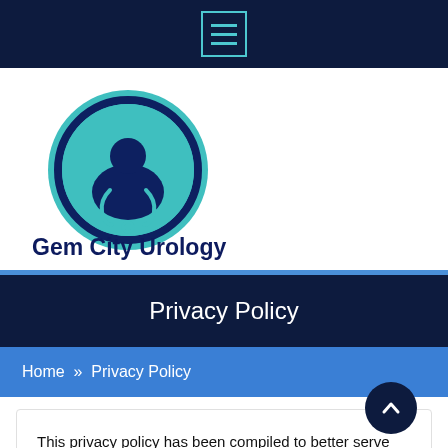Navigation menu icon
[Figure (logo): Gem City Urology logo: circular teal and dark blue icon with a doctor silhouette wearing a stethoscope, with text 'Gem City Urology' in dark navy blue below]
Privacy Policy
Home » Privacy Policy
This privacy policy has been compiled to better serve those who are concerned with how their 'Personally Identifiable Information' (PII) is being used online. PII, as